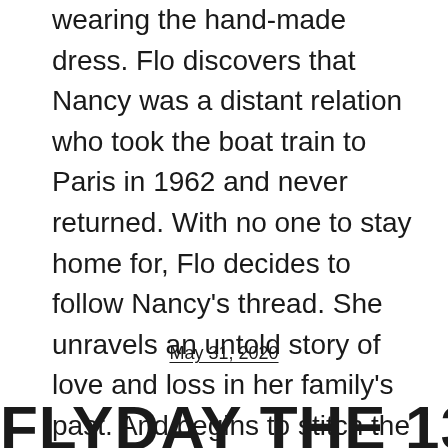wearing the hand-made dress. Flo discovers that Nancy was a distant relation who took the boat train to Paris in 1962 and never returned. With no one to stay home for, Flo decides to follow Nancy's thread. She unravels an untold story of love and loss in her family's past. And begins to stitch the pieces of her own life back together.
May 31, 2020
FLYDAY THE 13TH